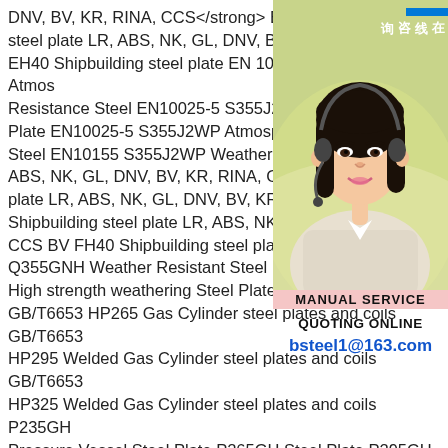DNV, BV, KR, RINA, CCS EH36 Shipbuilding steel plate LR, ABS, NK, GL, DNV, BV, KR, RINA, CCS EH40 Shipbuilding steel plate EN 10025-5 S355J0WP Atmos Resistance Steel EN10025-5 S355J2W W Plate EN10025-5 S355J2WP Atmosphere Steel EN10155 S355J2WP Weather Resis ABS, NK, GL, DNV, BV, KR, RINA, CCS F plate LR, ABS, NK, GL, DNV, BV, KR, RIN Shipbuilding steel plate LR, ABS, NK, GL, CCS BV FH40 Shipbuilding steel plate Ch Q355GNH Weather Resistant Steel Plate High strength weathering Steel Plate Gas GB/T6653 HP265 Gas Cylinder steel plates and coils GB/T6653 HP295 Welded Gas Cylinder steel plates and coils GB/T6653 HP325 Welded Gas Cylinder steel plates and coils P235GH Pressure Vessel Steel Plate P265GH Steel Plate P295GH steel plate P355GH Steel Plate Pipeline steel plate GB/T700 Q235B Steel Q245R Pressure vessel steel GB/T1591 Q345B low alloy
[Figure (photo): Photo of a young woman wearing a headset, appearing to be a customer service representative, with a blue badge showing Chinese characters 在线咨询 (online consultation)]
MANUAL SERVICE
QUOTING ONLINE
bsteel1@163.com